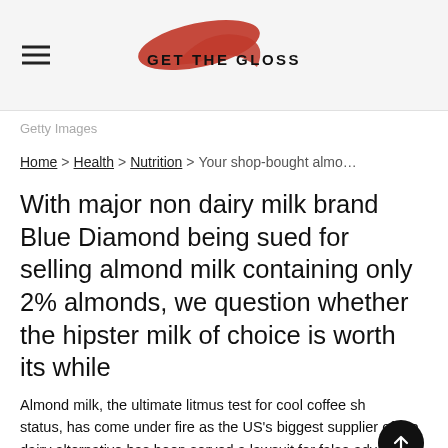GET THE GLOSS
Getty Images
Home > Health > Nutrition > Your shop-bought almo...
With major non dairy milk brand Blue Diamond being sued for selling almond milk containing only 2% almonds, we question whether the hipster milk of choice is worth its while
Almond milk, the ultimate litmus test for cool coffee shop status, has come under fire as the US's biggest supplier of the dairy alternative has been served a lawsuit for false advertising. The lawsuit is reported to highlight that Blue Diamond's Almo...